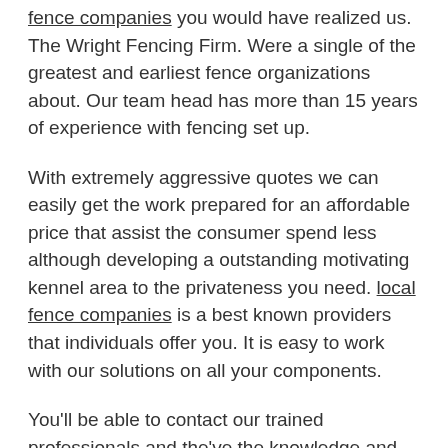fence companies you would have realized us. The Wright Fencing Firm. Were a single of the greatest and earliest fence organizations about. Our team head has more than 15 years of experience with fencing set up.
With extremely aggressive quotes we can easily get the work prepared for an affordable price that assist the consumer spend less although developing a outstanding motivating kennel area to the privateness you need. local fence companies is a best known providers that individuals offer you. It is easy to work with our solutions on all your components.
You'll be able to contact our trained professionals and the've the knowledge and experience to obtain what ever fencing you chose put together in mere a several times. Let the wright wall business do your career, get a good quotation, and get the best level of privacy fencing that money can buy. We offer the latest level of privacy fences and will be thrilled to perform meet your needs